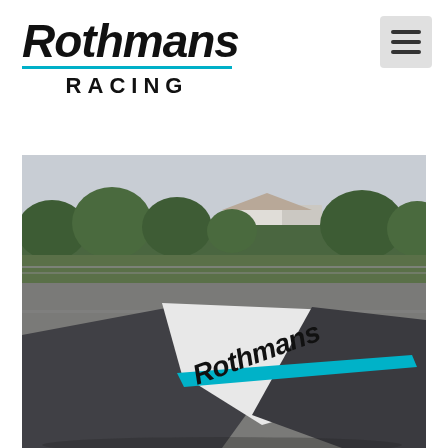[Figure (logo): Rothmans Racing logo — bold italic black Rothmans text, thin cyan/blue horizontal line, bold RACING text in caps with wide letter spacing]
[Figure (photo): A racing motorcycle or car covered with a Rothmans-branded cover (dark gray, white, and cyan/blue stripe with Rothmans text at an angle), parked on a race track with trees, hedges, and industrial buildings in the background.]